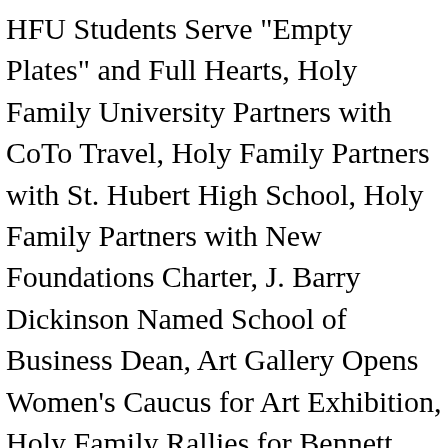HFU Students Serve "Empty Plates" and Full Hearts, Holy Family University Partners with CoTo Travel, Holy Family Partners with St. Hubert High School, Holy Family Partners with New Foundations Charter, J. Barry Dickinson Named School of Business Dean, Art Gallery Opens Women's Caucus for Art Exhibition, Holy Family Rallies for Bennett Anthony Pellegrino, "Literacy Opens Minds" Conference set for October, “Revelations of the Unconscious Mind” on Exhibit, Lecture Kicks Off Weekend of